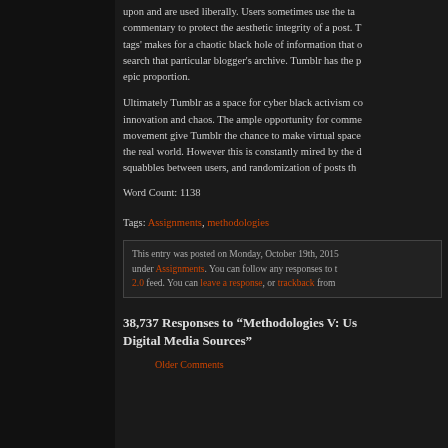upon and are used liberally. Users sometimes use the tags' commentary to protect the aesthetic integrity of a post. The 'tags' makes for a chaotic black hole of information that only search that particular blogger's archive. Tumblr has the potential of epic proportion.
Ultimately Tumblr as a space for cyber black activism combines innovation and chaos. The ample opportunity for commentary and movement give Tumblr the chance to make virtual spaces relevant to the real world. However this is constantly mired by the drama, squabbles between users, and randomization of posts that
Word Count: 1138
Tags: Assignments, methodologies
This entry was posted on Monday, October 19th, 2015 under Assignments. You can follow any responses to this entry through the RSS 2.0 feed. You can leave a response, or trackback from your own site.
38,737 Responses to “Methodologies V: Using Digital Media Sources”
Older Comments